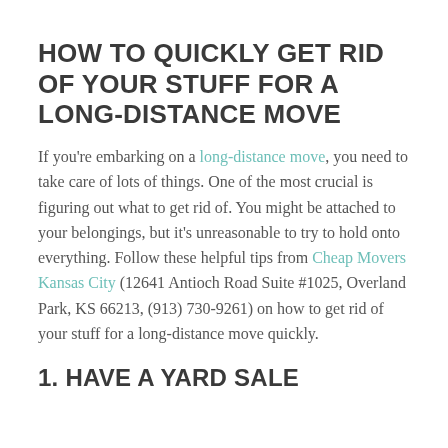HOW TO QUICKLY GET RID OF YOUR STUFF FOR A LONG-DISTANCE MOVE
If you're embarking on a long-distance move, you need to take care of lots of things. One of the most crucial is figuring out what to get rid of. You might be attached to your belongings, but it's unreasonable to try to hold onto everything. Follow these helpful tips from Cheap Movers Kansas City (12641 Antioch Road Suite #1025, Overland Park, KS 66213, (913) 730-9261) on how to get rid of your stuff for a long-distance move quickly.
1. HAVE A YARD SALE